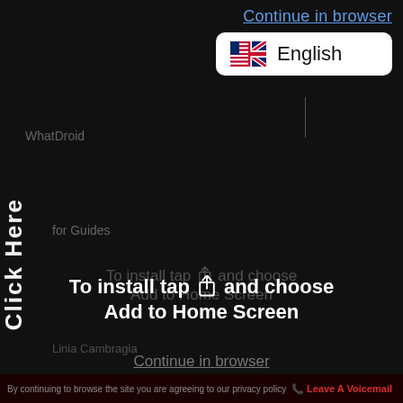Continue in browser
[Figure (screenshot): Language selector dropdown showing English with UK/US flag emoji, white rounded rectangle on dark background]
WhatDroid
Click Here
for Guides
To install tap [share icon] and choose
Add to Home Screen
Linia Cambragia
Continue in browser
By continuing to browse the site you are agreeing to our privacy policy
Leave A Voicemail